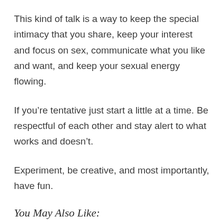This kind of talk is a way to keep the special intimacy that you share, keep your interest and focus on sex, communicate what you like and want, and keep your sexual energy flowing.
If you’re tentative just start a little at a time. Be respectful of each other and stay alert to what works and doesn’t.
Experiment, be creative, and most importantly, have fun.
You May Also Like: